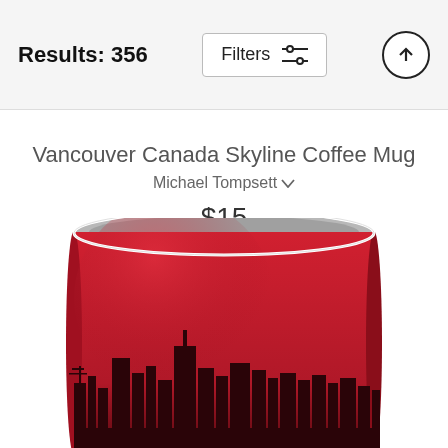Results: 356
Filters
Vancouver Canada Skyline Coffee Mug
Michael Tompsett
$15
[Figure (photo): A red coffee mug featuring the Vancouver Canada city skyline silhouette in dark maroon/black against a crimson-red gradient background. The mug is shown from the front with the rim visible at the top, cropped at the bottom.]